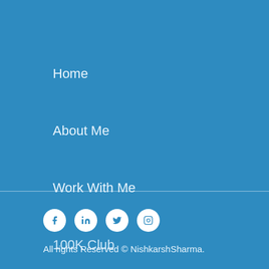Home
About Me
Work With Me
100K Club
Media
Blog
[Figure (infographic): Social media icons: Facebook, LinkedIn, Twitter, Instagram — white circles on blue background]
All rights Reserved © NishkarshSharma.